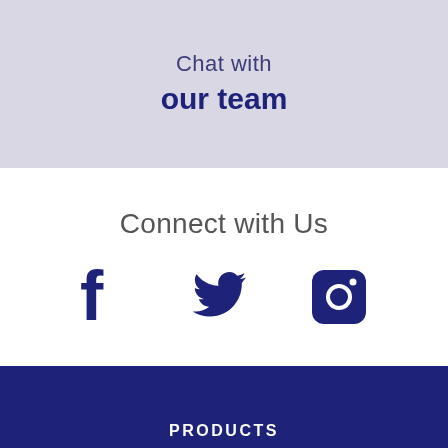Chat with our team
Connect with Us
[Figure (infographic): Three social media icons in dark navy blue: Facebook (f), Twitter (bird), and Instagram (camera) displayed in a row]
PRODUCTS